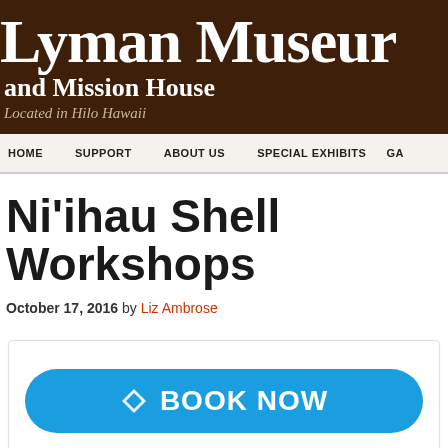Lyman Museum and Mission House
Located in Hilo Hawaii
HOME   SUPPORT   ABOUT US   SPECIAL EXHIBITS   GA
Ni'ihau Shell Workshops
October 17, 2016 by Liz Ambrose
[Figure (other): BOOK NOW button widget in a rounded rectangle box]